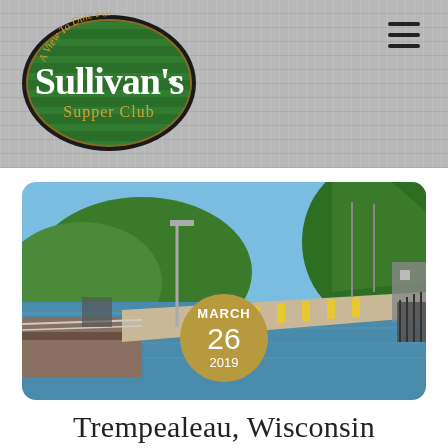[Figure (logo): Sullivan's Supper Club oval green logo with text 'A View To Dine For' and 'Supper Club']
[Figure (photo): Outdoor photo of a river lock/dam with green forested bluffs in the background, blue water, concrete walkway with yellow bollards, sunny day. Date badge overlay: MARCH 26 2019.]
Trempealeau, Wisconsin